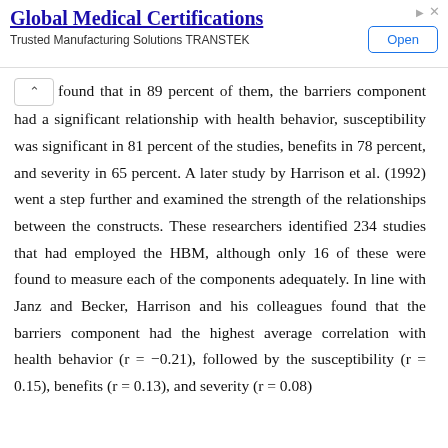[Figure (other): Advertisement banner for Global Medical Certifications with Open button]
found that in 89 percent of them, the barriers component had a significant relationship with health behavior, susceptibility was significant in 81 percent of the studies, benefits in 78 percent, and severity in 65 percent. A later study by Harrison et al. (1992) went a step further and examined the strength of the relationships between the constructs. These researchers identified 234 studies that had employed the HBM, although only 16 of these were found to measure each of the components adequately. In line with Janz and Becker, Harrison and his colleagues found that the barriers component had the highest average correlation with health behavior (r = −0.21), followed by the susceptibility (r = 0.15), benefits (r = 0.13), and severity (r = 0.08)